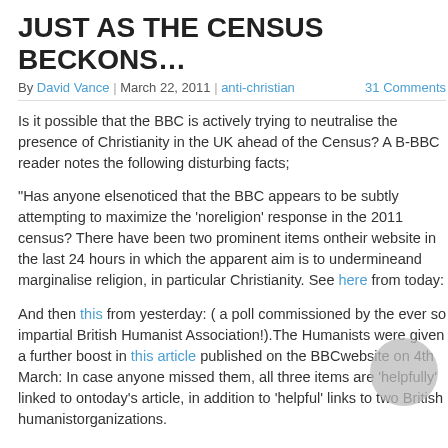JUST AS THE CENSUS BECKONS…
By David Vance | March 22, 2011 anti-christian  31 Comments
Is it possible that the BBC is actively trying to neutralise the presence of Christianity in the UK ahead of the Census? A B-BBC reader notes the following disturbing facts;
“Has anyone elsenoticed that the BBC appears to be subtly attempting to maximize the ‘noreligion’ response in the 2011 census? There have been two prominent items ontheir website in the last 24 hours in which the apparent aim is to undermineand marginalise religion, in particular Christianity. See here from today:
And then this from yesterday: ( a poll commissioned by the ever so impartial British Humanist Association!).The Humanists were given a further boost in this article published on the BBCwebsite on 4th March: In case anyone missed them, all three items are ‘helpfully’ linked to ontoday’s article, in addition to ‘helpful’ links to two British humanistorganizations.